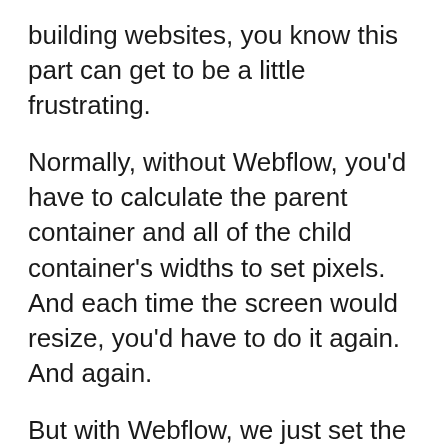building websites, you know this part can get to be a little frustrating.
Normally, without Webflow, you'd have to calculate the parent container and all of the child container's widths to set pixels. And each time the screen would resize, you'd have to do it again. And again.
But with Webflow, we just set the parent container to flex, and set the child item widths as percentages. The containers would just scale to fit automatically without us having to manually adjust them. That's it!
Webflow also has integrated CSS grid, which we've heard is even better for larger scale